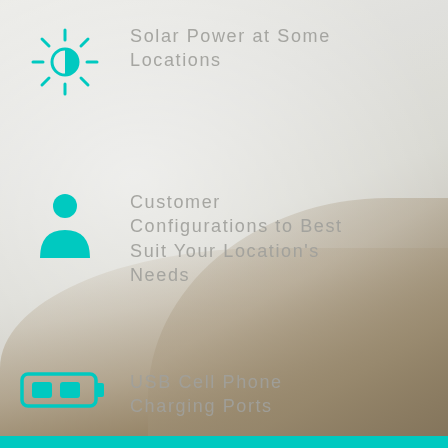[Figure (infographic): Beach/coastal background photo with misty water and sandy rocky terrain with grass]
Solar Power at Some Locations
Customer Configurations to Best Suit Your Location's Needs
USB Cell Phone Charging Ports